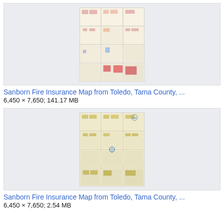[Figure (map): Sanborn Fire Insurance Map from Toledo, Tama County - colored grid map showing city blocks with building footprints in pink/red/blue colors]
Sanborn Fire Insurance Map from Toledo, Tama County, ...
6,450 × 7,650; 141.17 MB
[Figure (map): Sanborn Fire Insurance Map from Toledo, Tama County - yellowed/aged grid map showing city blocks with building footprints in golden/tan tones]
Sanborn Fire Insurance Map from Toledo, Tama County, ...
6,450 × 7,650; 2.54 MB